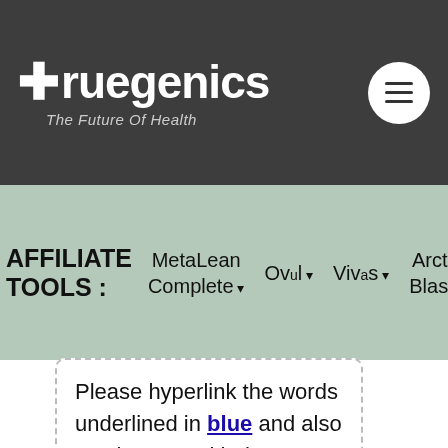Truegenics — The Future Of Health
AFFILIATE TOOLS : MetaLean Complete  Ovul  Vivas  Arctic Blast  Cardio Clear 7
Please hyperlink the words underlined in blue and also any images with the tracking URL that I've provided to you